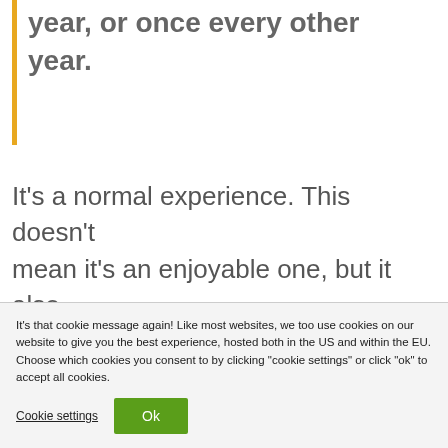year, or once every other year.
It's a normal experience. This doesn't mean it's an enjoyable one, but it also doesn't have to mean anything is wrong with your sex relationship...
It's that cookie message again! Like most websites, we too use cookies on our website to give you the best experience, hosted both in the US and within the EU. Choose which cookies you consent to by clicking "cookie settings" or click "ok" to accept all cookies.
Cookie settings
Ok